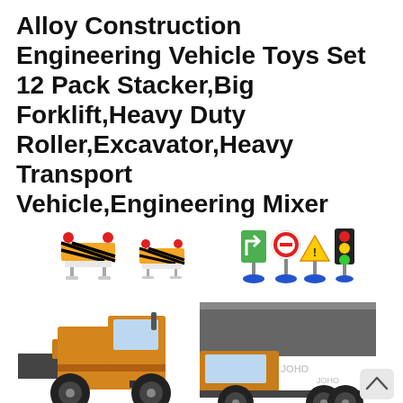Alloy Construction Engineering Vehicle Toys Set 12 Pack Stacker,Big Forklift,Heavy Duty Roller,Excavator,Heavy Transport Vehicle,Engineering Mixer Set for Kids Boys
[Figure (photo): Product photo showing toy construction vehicles and accessories including road barriers with red lights, traffic signs on blue bases, a yellow front loader bulldozer toy, and a yellow/grey dump truck toy. A scroll-up button appears in the bottom right corner.]